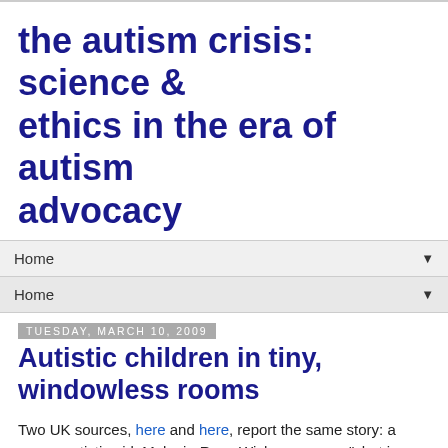the autism crisis: science & ethics in the era of autism advocacy
Home ▼
Home ▼
Tuesday, March 10, 2009
Autistic children in tiny, windowless rooms
Two UK sources, here and here, report the same story: a young autistic girl, Melanie-Rose Wichmann, was "shut in a tiny, windowless room for getting upset at school." She "begged to be let out." She "has suffered anxiety attacks since the incident in February last year."